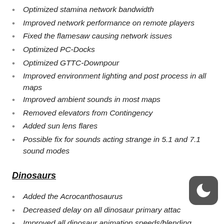Optimized stamina network bandwidth
Improved network performance on remote players
Fixed the flamesaw causing network issues
Optimized PC-Docks
Optimized GTTC-Downpour
Improved environment lighting and post process in all maps
Improved ambient sounds in most maps
Removed elevators from Contingency
Added sun lens flares
Possible fix for sounds acting strange in 5.1 and 7.1 sound modes
Dinosaurs
Added the Acrocanthosaurus
Decreased delay on all dinosaur primary attac
Improved all dinosaur animation speeds/blending
Fixed dinosaur eating animations not blending out